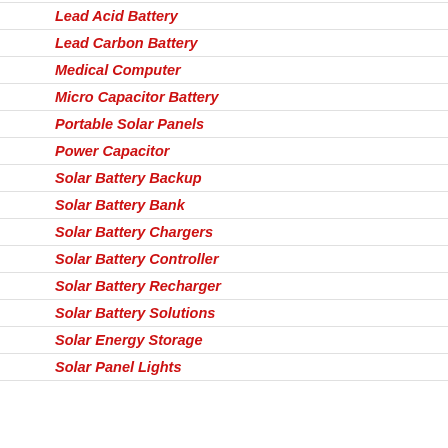Lead Acid Battery
Lead Carbon Battery
Medical Computer
Micro Capacitor Battery
Portable Solar Panels
Power Capacitor
Solar Battery Backup
Solar Battery Bank
Solar Battery Chargers
Solar Battery Controller
Solar Battery Recharger
Solar Battery Solutions
Solar Energy Storage
Solar Panel Lights